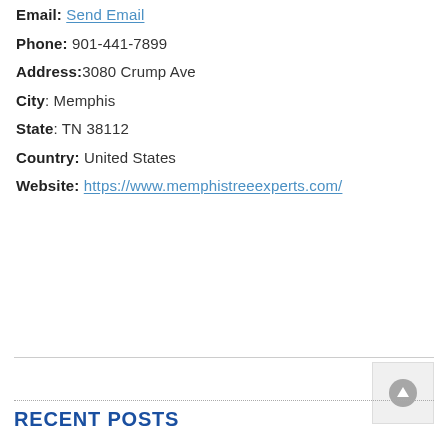Email: Send Email
Phone: 901-441-7899
Address: 3080 Crump Ave
City: Memphis
State: TN 38112
Country: United States
Website: https://www.memphistreeexperts.com/
RECENT POSTS